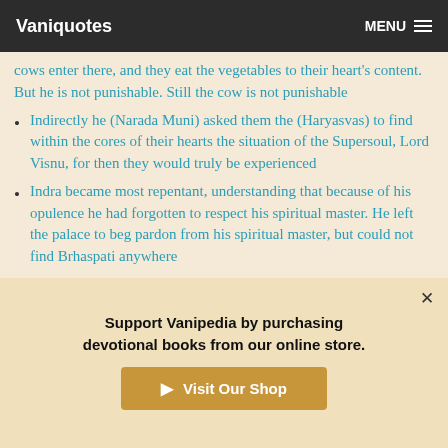Vaniquotes  MENU
cows enter there, and they eat the vegetables to their heart's content. But he is not punishable. Still the cow is not punishable
Indirectly he (Narada Muni) asked them the (Haryasvas) to find within the cores of their hearts the situation of the Supersoul, Lord Visnu, for then they would truly be experienced
Indra became most repentant, understanding that because of his opulence he had forgotten to respect his spiritual master. He left the palace to beg pardon from his spiritual master, but could not find Brhaspati anywhere
Support Vanipedia by purchasing devotional books from our online store.
Visit Our Shop